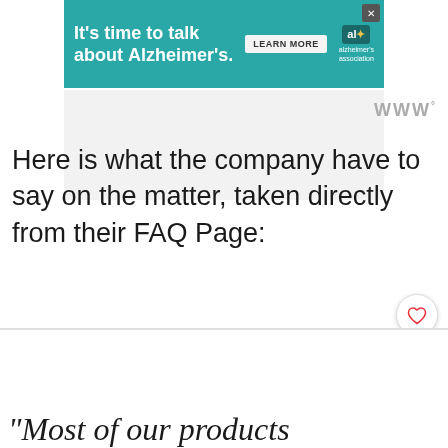[Figure (screenshot): Advertisement banner for Alzheimer's Association with teal background. Text reads 'It's time to talk about Alzheimer's.' with a 'LEARN MORE' button and the Alzheimer's Association logo.]
Here is what the company have to say on the matter, taken directly from their FAQ Page:
“Most of our products